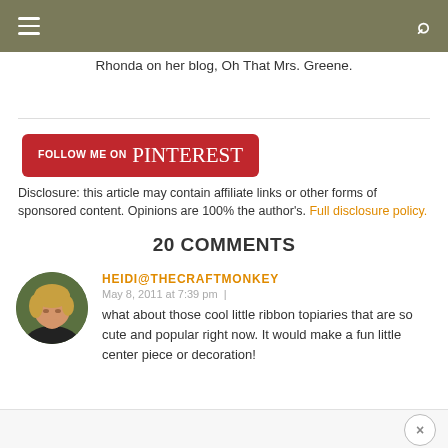Navigation bar with menu and search icons
Rhonda on her blog, Oh That Mrs. Greene.
[Figure (other): Follow me on Pinterest button - red rounded rectangle badge]
Disclosure: this article may contain affiliate links or other forms of sponsored content. Opinions are 100% the author's. Full disclosure policy.
20 COMMENTS
HEIDI@THECRAFTMONKEY
May 8, 2011 at 7:39 pm
what about those cool little ribbon topiaries that are so cute and popular right now. It would make a fun little center piece or decoration!